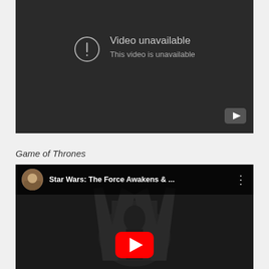[Figure (screenshot): YouTube video unavailable error screen with dark background, exclamation circle icon, text 'Video unavailable' and 'This video is unavailable', and YouTube play button icon in bottom-right corner]
Game of Thrones
[Figure (screenshot): YouTube video thumbnail for 'Star Wars: The Force Awakens & ...' showing Game of Thrones Iron Throne image with a figure seated on it, YouTube channel avatar in top-left, three-dot menu icon, and large YouTube play button overlay at bottom]